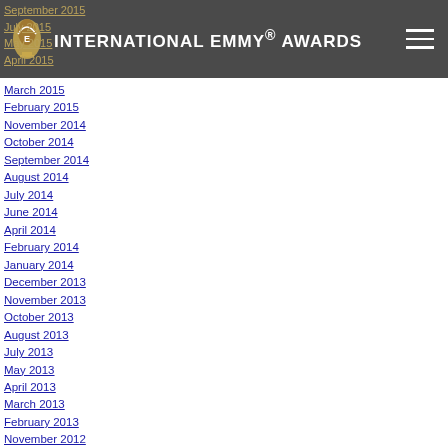INTERNATIONAL EMMY® AWARDS
March 2015
February 2015
November 2014
October 2014
September 2014
August 2014
July 2014
June 2014
April 2014
February 2014
January 2014
December 2013
November 2013
October 2013
August 2013
July 2013
May 2013
April 2013
March 2013
February 2013
November 2012
October 2012
September 2012
August 2012
July 2012
June 2012